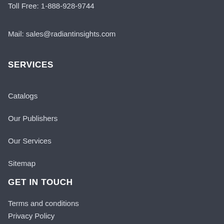Toll Free: 1-888-928-9744
Mail: sales@radiantinsights.com
SERVICES
Catalogs
Our Publishers
Our Services
Sitemap
GET IN TOUCH
Terms and conditions
Privacy Policy
Return Policy
Customer FAQ